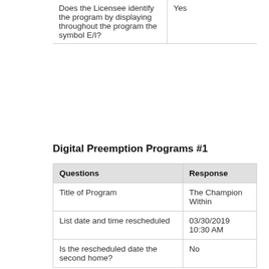| Questions | Response |
| --- | --- |
| Does the Licensee identify the program by displaying throughout the program the symbol E/I? | Yes |
Digital Preemption Programs #1
| Questions | Response |
| --- | --- |
| Title of Program | The Champion Within |
| List date and time rescheduled | 03/30/2019 10:30 AM |
| Is the rescheduled date the second home? | No |